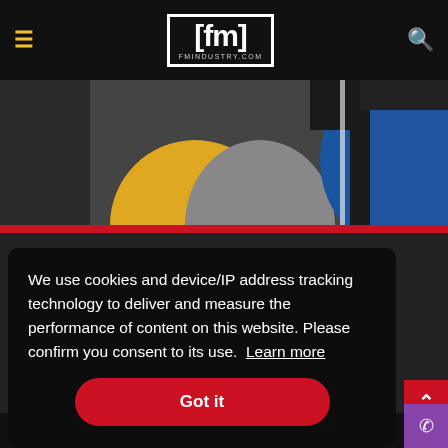fm fmindustry.com
[Figure (photo): Abstract geometric shapes in yellow, grey, blue, and dark colors — decorative header banner image]
We use cookies and device/IP address tracking technology to deliver and measure the performance of content on this website. Please confirm you consent to its use. Learn more
Got it